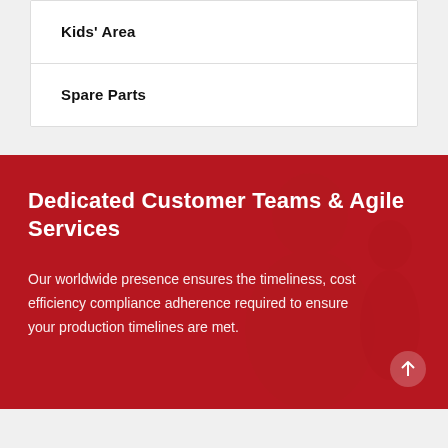Kids' Area
Spare Parts
Dedicated Customer Teams & Agile Services
Our worldwide presence ensures the timeliness, cost efficiency compliance adherence required to ensure your production timelines are met.